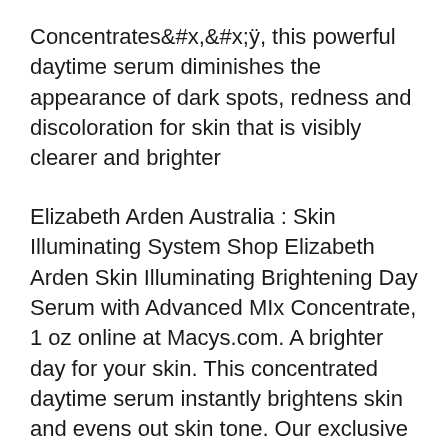Concentrates​â„¿y, this powerful daytime serum diminishes the appearance of dark spots, redness and discoloration for skin that is visibly clearer and brighter
Elizabeth Arden Australia : Skin Illuminating System Shop Elizabeth Arden Skin Illuminating Brightening Day Serum with Advanced MIx Concentrate, 1 oz online at Macys.com. A brighter day for your skin. This concentrated daytime serum instantly brightens skin and evens out skin tone. Our exclusive Advanced MIx Concentrate technology delivers a potent blend of encapsulated niacinamide and vitamin C, a proven skin brightener